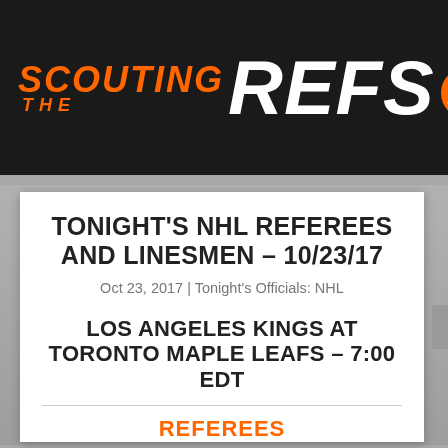SCOUTING THE REFS
TONIGHT'S NHL REFEREES AND LINESMEN – 10/23/17
Oct 23, 2017 | Tonight's Officials: NHL
LOS ANGELES KINGS AT TORONTO MAPLE LEAFS – 7:00 EDT
REFEREES